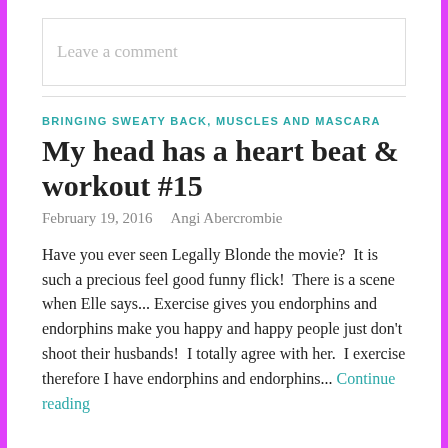Leave a comment
BRINGING SWEATY BACK, MUSCLES AND MASCARA
My head has a heart beat & workout #15
February 19, 2016   Angi Abercrombie
Have you ever seen Legally Blonde the movie?  It is such a precious feel good funny flick!  There is a scene when Elle says... Exercise gives you endorphins and endorphins make you happy and happy people just don't shoot their husbands!  I totally agree with her.  I exercise therefore I have endorphins and endorphins... Continue reading